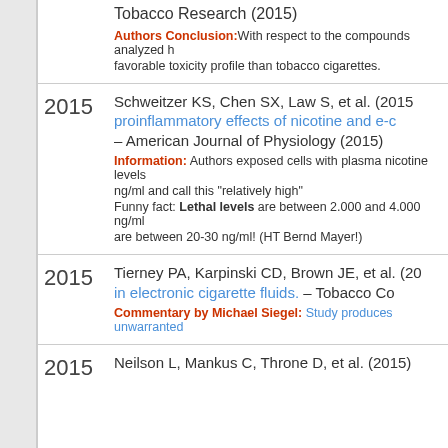Tobacco Research (2015)
Authors Conclusion: With respect to the compounds analyzed h...
favorable toxicity profile than tobacco cigarettes.
2015 Schweitzer KS, Chen SX, Law S, et al. (2015) proinflammatory effects of nicotine and e-c – American Journal of Physiology (2015)
Information: Authors exposed cells with plasma nicotine levels...
ng/ml and call this 'relatively high'
Funny fact: Lethal levels are between 2.000 and 4.000 ng/ml
are between 20-30 ng/ml! (HT Bernd Mayer!)
2015 Tierney PA, Karpinski CD, Brown JE, et al. (20 in electronic cigarette fluids. – Tobacco Co...
Commentary by Michael Siegel: Study produces unwarranted...
2015 Neilson L, Mankus C, Throne D, et al. (2015)